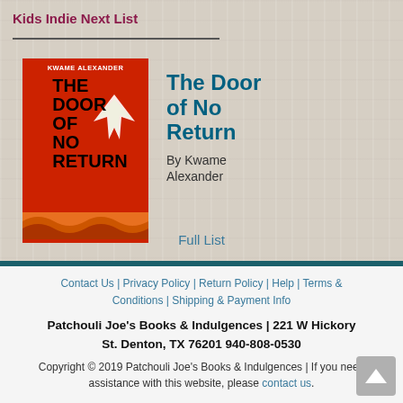Kids Indie Next List
[Figure (illustration): Book cover of 'The Door of No Return' by Kwame Alexander — red background with bold black title text and a white bird graphic, with wave patterns at the bottom]
The Door of No Return
By Kwame Alexander
Full List
Contact Us | Privacy Policy | Return Policy | Help | Terms & Conditions | Shipping & Payment Info
Patchouli Joe's Books & Indulgences | 221 W Hickory St. Denton, TX 76201 940-808-0530
Copyright © 2019 Patchouli Joe's Books & Indulgences | If you need assistance with this website, please contact us.